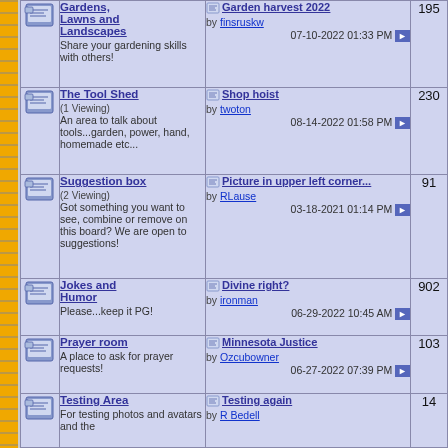Gardens, Lawns and Landscapes - Share your gardening skills with others! Last post: Garden harvest 2022 by finsruskw 07-10-2022 01:33 PM - 195
The Tool Shed (1 Viewing) - An area to talk about tools...garden, power, hand, homemade etc... Last post: Shop hoist by twoton 08-14-2022 01:58 PM - 230
Suggestion box (2 Viewing) - Got something you want to see, combine or remove on this board? We are open to suggestions! Last post: Picture in upper left corner... by RLause 03-18-2021 01:14 PM - 91
Jokes and Humor - Please...keep it PG! Last post: Divine right? by ironman 06-29-2022 10:45 AM - 902
Prayer room - A place to ask for prayer requests! Last post: Minnesota Justice by Ozcubowner 06-27-2022 07:39 PM - 103
Testing Area - For testing photos and avatars and the Last post: Testing again by R Bedell - 14